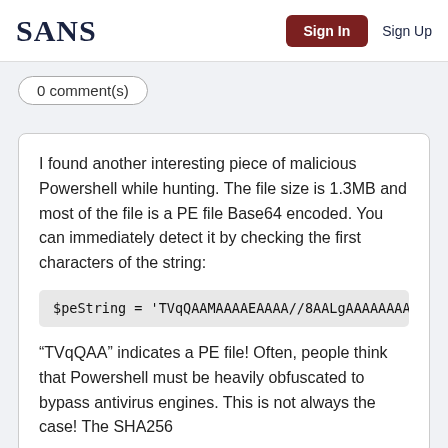SANS | Sign In | Sign Up
0 comment(s)
I found another interesting piece of malicious Powershell while hunting. The file size is 1.3MB and most of the file is a PE file Base64 encoded. You can immediately detect it by checking the first characters of the string:
$peString = 'TVqQAAMAAAAEAAAA//8AALgAAAAAAAAAAQ
“TVqQAA” indicates a PE file! Often, people think that Powershell must be heavily obfuscated to bypass antivirus engines. This is not always the case! The SHA256